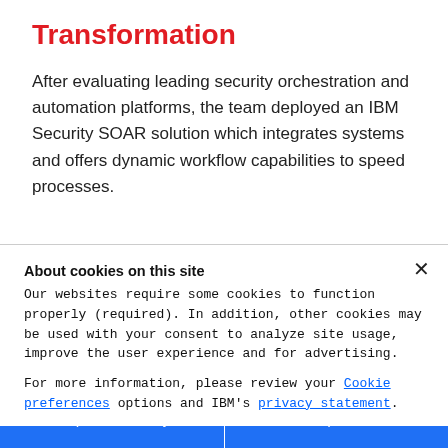Transformation
After evaluating leading security orchestration and automation platforms, the team deployed an IBM Security SOAR solution which integrates systems and offers dynamic workflow capabilities to speed processes.
About cookies on this site
Our websites require some cookies to function properly (required). In addition, other cookies may be used with your consent to analyze site usage, improve the user experience and for advertising.
For more information, please review your Cookie preferences options and IBM's privacy statement.